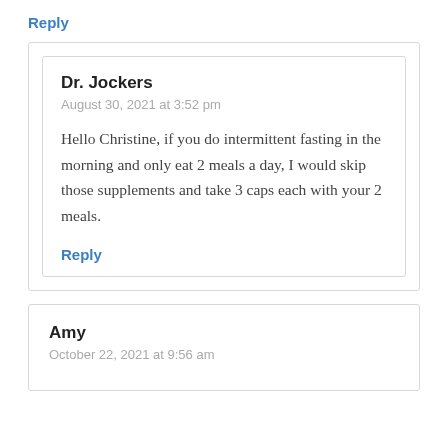Reply
Dr. Jockers
August 30, 2021 at 3:52 pm
Hello Christine, if you do intermittent fasting in the morning and only eat 2 meals a day, I would skip those supplements and take 3 caps each with your 2 meals.
Reply
Amy
October 22, 2021 at 9:56 am